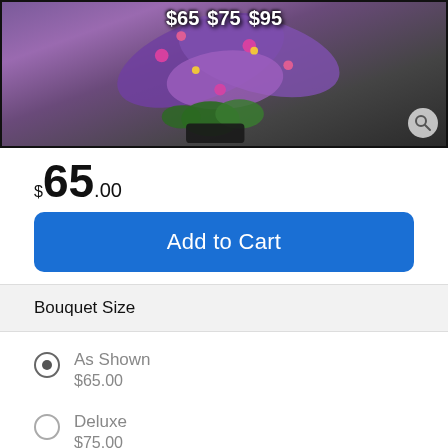[Figure (photo): Flower bouquet with purple/pink floral bow ribbon, dark pot, on wooden background. Price options $65, $75, $95 shown at top. Search magnifier icon in bottom right corner.]
$65.00
Add to Cart
Bouquet Size
As Shown
$65.00
Deluxe
$75.00